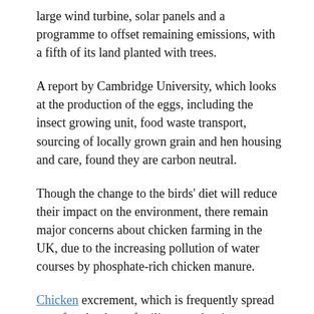large wind turbine, solar panels and a programme to offset remaining emissions, with a fifth of its land planted with trees.
A report by Cambridge University, which looks at the production of the eggs, including the insect growing unit, food waste transport, sourcing of locally grown grain and hen housing and care, found they are carbon neutral.
Though the change to the birds' diet will reduce their impact on the environment, there remain major concerns about chicken farming in the UK, due to the increasing pollution of water courses by phosphate-rich chicken manure.
Chicken excrement, which is frequently spread onto farmland as a fertiliser, washes into streams and rivers, where the phosphates trigger toxic algal-blooms. This has impacted rivers, such as the Wye on the border of England and Wales, where around 20 million chickens are farmed. The river is